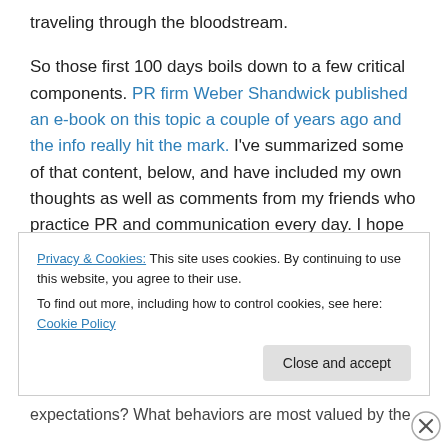traveling through the bloodstream.
So those first 100 days boils down to a few critical components. PR firm Weber Shandwick published an e-book on this topic a couple of years ago and the info really hit the mark. I've summarized some of that content, below, and have included my own thoughts as well as comments from my friends who practice PR and communication every day. I hope this creates more discussion on the topic – so feel free to comment and share your ideas.
Privacy & Cookies: This site uses cookies. By continuing to use this website, you agree to their use. To find out more, including how to control cookies, see here: Cookie Policy
expectations? What behaviors are most valued by the